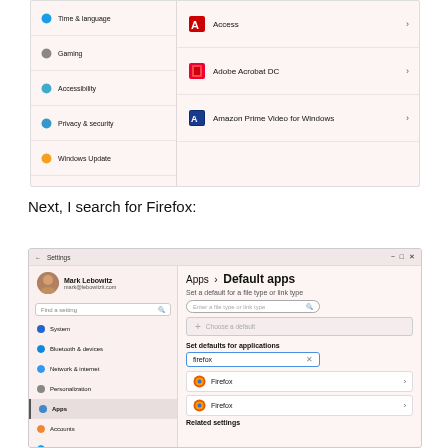[Figure (screenshot): Windows 11 Settings screenshot showing left nav panel with Time & language, Gaming, Accessibility, Privacy & security, Windows Update items and right panel showing apps list: Access, Adobe Acrobat DC, Amazon Prime Video for Windows]
Next, I search for Firefox:
[Figure (screenshot): Windows 11 Settings - Apps > Default apps page. Left nav shows System, Bluetooth & devices, Network & internet, Personalization, Apps (selected), Accounts, Time & language, Gaming, Accessibility, Privacy & security. Right side shows search field with 'firefox' typed and two Firefox app results listed. Related settings section visible at bottom.]